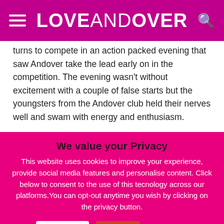LOVEANDOVER
turns to compete in an action packed evening that saw Andover take the lead early on in the competition. The evening wasn't without excitement with a couple of false starts but the youngsters from the Andover club held their nerves well and swam with energy and enthusiasm.
Danny Harris started off the evening with a 50m...
We value your Privacy
This website uses cookies to improve your experience, provide social media features and personalise content. Click below to consent to the use of this tecnology across our platforms.You can opt-out anytime you wish by clicking on the privacy button.
Accept  Reject  Read More